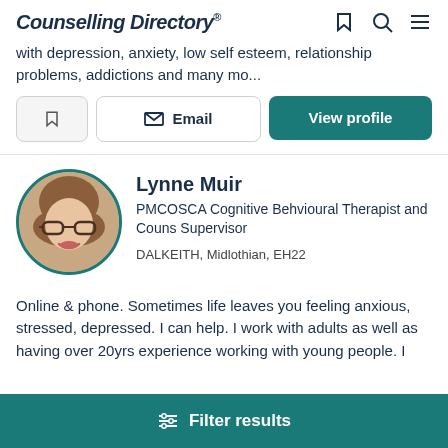Counselling Directory
with depression, anxiety, low self esteem, relationship problems, addictions and many mo...
Email | View profile
Lynne Muir
PMCOSCA Cognitive Behvioural Therapist and Couns Supervisor
DALKEITH, Midlothian, EH22
Online & phone. Sometimes life leaves you feeling anxious, stressed, depressed. I can help. I work with adults as well as having over 20yrs experience working with young people. I
Filter results